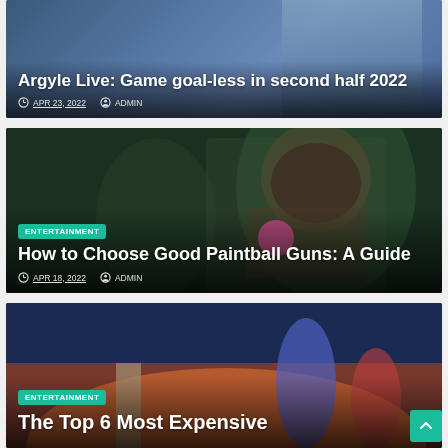[Figure (photo): Soccer/football players in action, partially visible at top of card. Dark overlay with title and metadata.]
Argyle Live: Game goal-less in second half 2022
APR 23, 2022  ADMIN
[Figure (photo): Person in paintball gear/helmet with camouflage equipment, holding paintball gun. Dark green background.]
ENTERTAINMENT
How to Choose Good Paintball Guns: A Guide
APR 18, 2022  ADMIN
[Figure (photo): Movie promotional image showing X-Men characters including Professor X, Wolverine, Mystique and others against a dramatic orange and blue sky.]
ENTERTAINMENT
The Top 6 Most Expensive